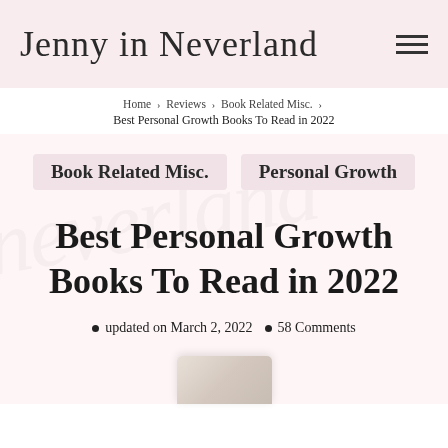Jenny in Neverland
Home › Reviews › Book Related Misc. › Best Personal Growth Books To Read in 2022
Book Related Misc.   Personal Growth
Best Personal Growth Books To Read in 2022
updated on March 2, 2022  •  58 Comments